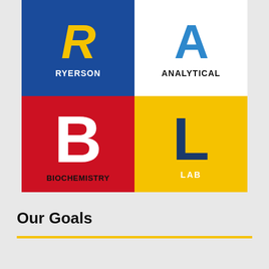[Figure (logo): Ryerson Analytical Biochemistry Lab logo composed of four colored quadrants: top-left blue with yellow R letter and RYERSON text, top-right white with blue A letter and ANALYTICAL text, bottom-left red with white B letter and BIOCHEMISTRY text, bottom-right yellow with dark blue L letter and LAB text.]
Our Goals